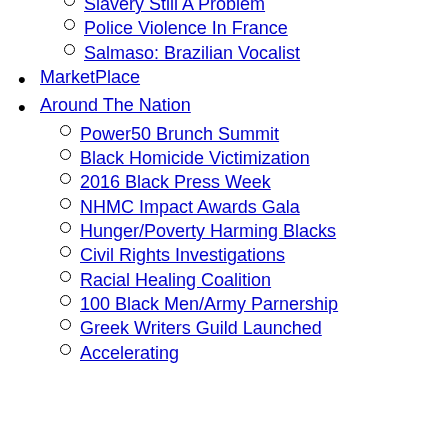Slavery Still A Problem
Police Violence In France
Salmaso: Brazilian Vocalist
MarketPlace
Around The Nation
Power50 Brunch Summit
Black Homicide Victimization
2016 Black Press Week
NHMC Impact Awards Gala
Hunger/Poverty Harming Blacks
Civil Rights Investigations
Racial Healing Coalition
100 Black Men/Army Parnership
Greek Writers Guild Launched
Accelerating